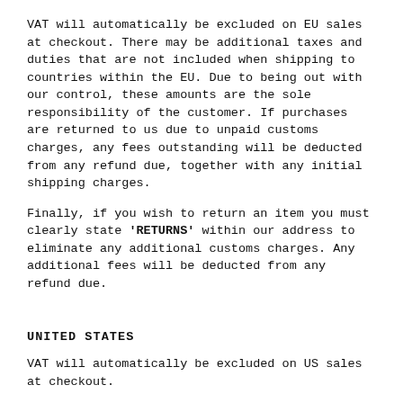VAT will automatically be excluded on EU sales at checkout. There may be additional taxes and duties that are not included when shipping to countries within the EU. Due to being out with our control, these amounts are the sole responsibility of the customer. If purchases are returned to us due to unpaid customs charges, any fees outstanding will be deducted from any refund due, together with any initial shipping charges.
Finally, if you wish to return an item you must clearly state 'RETURNS' within our address to eliminate any additional customs charges. Any additional fees will be deducted from any refund due.
UNITED STATES
VAT will automatically be excluded on US sales at checkout.
Delivery to the United States takes 3-5 days.
All orders placed before 12 noon (GMT) Monday to Thursday will be shipped that day. Orders placed after 12 noon on a Thursday will be sent out Friday for delivery. Orders placed after 12 noon on a Friday will be sent out on the following Monday for delivery.
You will receive a tracking number once the order has been shipped